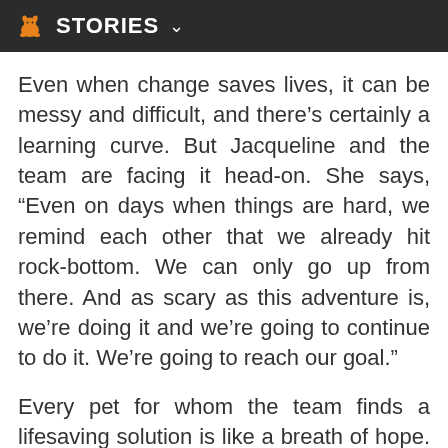STORIES
Even when change saves lives, it can be messy and difficult, and there’s certainly a learning curve. But Jacqueline and the team are facing it head-on. She says, “Even on days when things are hard, we remind each other that we already hit rock-bottom. We can only go up from there. And as scary as this adventure is, we’re doing it and we’re going to continue to do it. We’re going to reach our goal.”
Every pet for whom the team finds a lifesaving solution is like a breath of hope. And for people who used to spend every day feeling like they were drowning, that’s about as good as it gets.